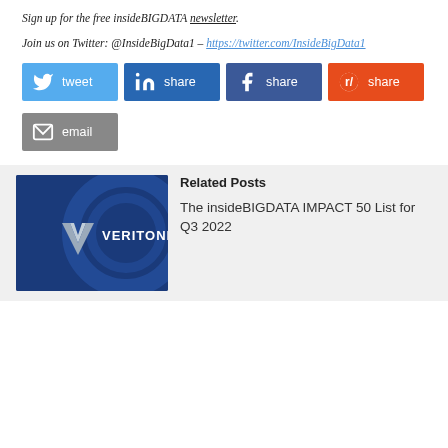Sign up for the free insideBIGDATA newsletter.
Join us on Twitter: @InsideBigData1 – https://twitter.com/InsideBigData1
[Figure (other): Social share buttons: tweet (Twitter/blue), share (LinkedIn/dark blue), share (Facebook/dark blue), share (Reddit/orange), email (gray)]
[Figure (photo): Veritone logo image on a dark blue background with geometric patterns]
Related Posts
The insideBIGDATA IMPACT 50 List for Q3 2022